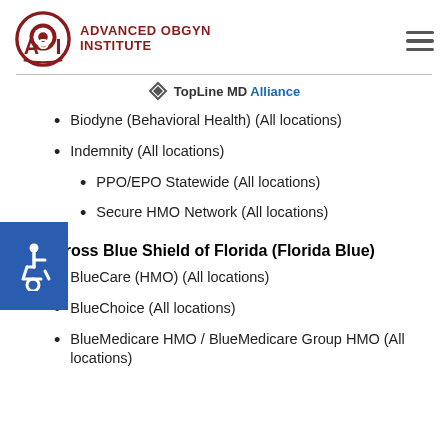[Figure (logo): Advanced OBGYN Institute logo with AOI circular emblem in dark red]
[Figure (logo): TopLine MD Alliance logo with arrow icon]
Biodyne (Behavioral Health) (All locations)
Indemnity (All locations)
PPO/EPO Statewide (All locations)
Secure HMO Network (All locations)
Blue Cross Blue Shield of Florida (Florida Blue)
BlueCare (HMO) (All locations)
BlueChoice (All locations)
BlueMedicare HMO / BlueMedicare Group HMO (All locations)